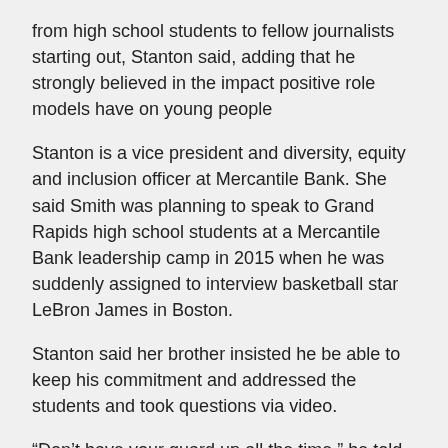from high school students to fellow journalists starting out, Stanton said, adding that he strongly believed in the impact positive role models have on young people
Stanton is a vice president and diversity, equity and inclusion officer at Mercantile Bank. She said Smith was planning to speak to Grand Rapids high school students at a Mercantile Bank leadership camp in 2015 when he was suddenly assigned to interview basketball star LeBron James in Boston.
Stanton said her brother insisted he be able to keep his commitment and addressed the students and took questions via video.
“Don’t have your guard up all the time,” he told the students. “Put yourself out there and ask for help if you need it. Make sure you find mentors and role models and be proactive in asking them for any help you might need.”